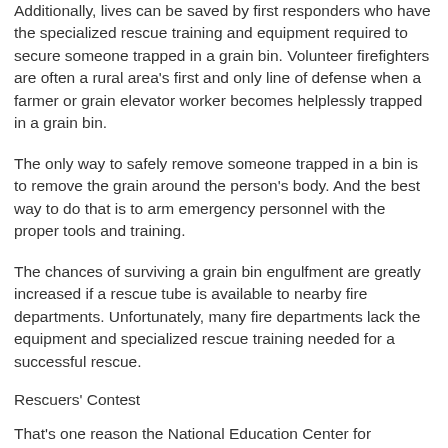Additionally, lives can be saved by first responders who have the specialized rescue training and equipment required to secure someone trapped in a grain bin. Volunteer firefighters are often a rural area's first and only line of defense when a farmer or grain elevator worker becomes helplessly trapped in a grain bin.
The only way to safely remove someone trapped in a bin is to remove the grain around the person's body. And the best way to do that is to arm emergency personnel with the proper tools and training.
The chances of surviving a grain bin engulfment are greatly increased if a rescue tube is available to nearby fire departments. Unfortunately, many fire departments lack the equipment and specialized rescue training needed for a successful rescue.
Rescuers' Contest
That's one reason the National Education Center for Agricultural Safety (NECAS), Grain Systems, Inc., KC Supply Co. and the Nationwide insurance company decided to award fire departments the grain bin rescue tubes and the specialized training that can save lives when farmers and other workers become entrapped in grain bins.
This is where you can help. Any rural community fire